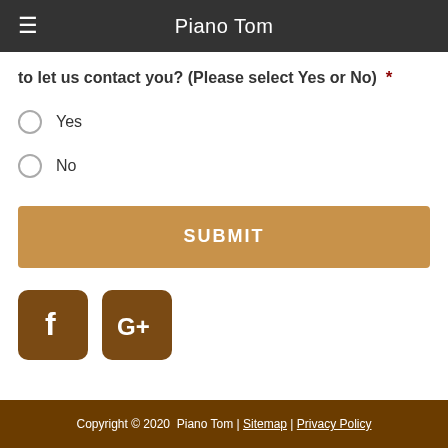Piano Tom
to let us contact you? (Please select Yes or No) *
Yes
No
SUBMIT
[Figure (logo): Facebook icon - dark brown rounded square with white 'f' letter]
[Figure (logo): Google Plus icon - dark brown rounded square with white 'G+' text]
Copyright © 2020  Piano Tom | Sitemap | Privacy Policy